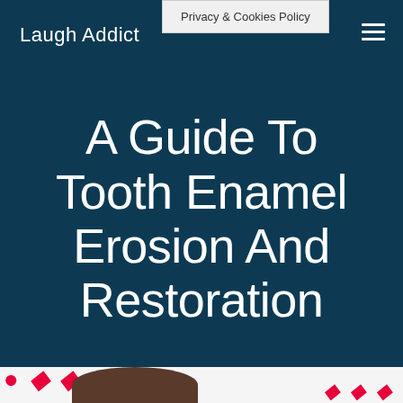Laugh Addict
Privacy & Cookies Policy
A Guide To Tooth Enamel Erosion And Restoration
[Figure (photo): Partial view of a dental/tooth related image with red decorative text peeking at bottom of page]